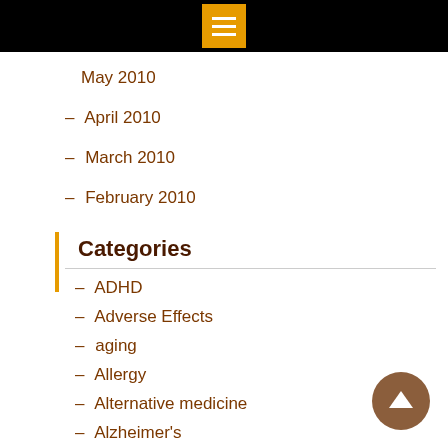– May 2010
– April 2010
– March 2010
– February 2010
Categories
– ADHD
– Adverse Effects
– aging
– Allergy
– Alternative medicine
– Alzheimer's
– Alzheimer's